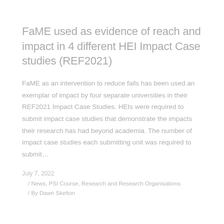FaME used as evidence of reach and impact in 4 different HEI Impact Case studies (REF2021)
FaME as an intervention to reduce falls has been used an exemplar of impact by four separate universities in their REF2021 Impact Case Studies. HEIs were required to submit impact case studies that demonstrate the impacts their research has had beyond academia. The number of impact case studies each submitting unit was required to submit...
July 7, 2022
/ News, PSI Course, Research and Research Organisations
/ By Dawn Skelton